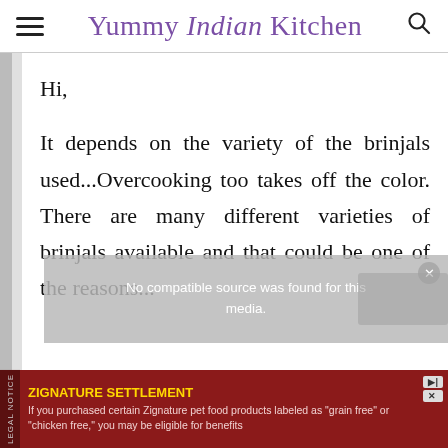Yummy Indian Kitchen
Hi,

It depends on the variety of the brinjals used...Overcooking too takes off the color. There are many different varieties of brinjals available and that could be one of the reasons...
[Figure (screenshot): Media player overlay with text: No compatible source was found for this media.]
ZIGNATURE SETTLEMENT
If you purchased certain Zignature pet food products labeled as "grain free" or "chicken free," you may be eligible for benefits